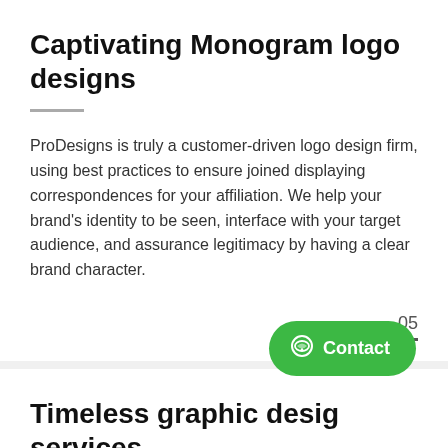Captivating Monogram logo designs
ProDesigns is truly a customer-driven logo design firm, using best practices to ensure joined displaying correspondences for your affiliation. We help your brand’s identity to be seen, interface with your target audience, and assurance legitimacy by having a clear brand character.
05
Timeless graphic design services